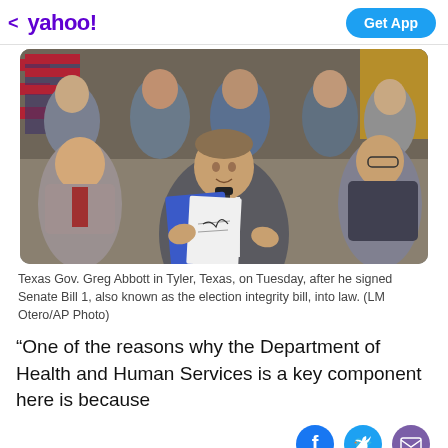< yahoo!  Get App
[Figure (photo): Texas Governor Greg Abbott standing at a podium holding up a signed document (Senate Bill 1, the election integrity bill) in Tyler, Texas. Several officials and supporters are seated and standing behind him, smiling.]
Texas Gov. Greg Abbott in Tyler, Texas, on Tuesday, after he signed Senate Bill 1, also known as the election integrity bill, into law. (LM Otero/AP Photo)
“One of the reasons why the Department of Health and Human Services is a key component here is because